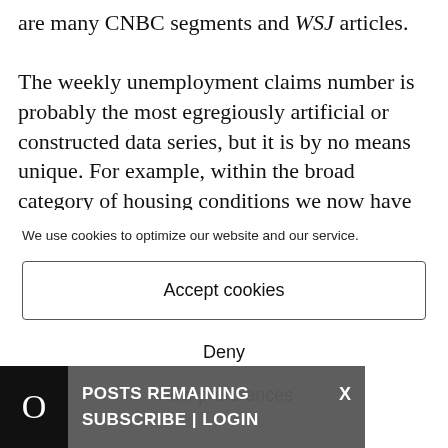are many CNBC segments and WSJ articles. The weekly unemployment claims number is probably the most egregiously artificial or constructed data series, but it is by no means unique. For example, within the broad category of housing conditions we now have enormous
We use cookies to optimize our website and our service.
Accept cookies
Deny
View preferences
0 POSTS REMAINING X SUBSCRIBE | LOGIN